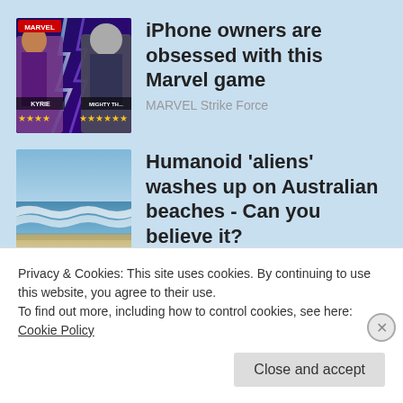[Figure (screenshot): Ad thumbnail for Marvel Strike Force game showing two characters KYRIE and MIGHTY THO with star ratings]
iPhone owners are obsessed with this Marvel game
MARVEL Strike Force
[Figure (photo): Beach scene with waves and sandy shore for Washington Examiner article]
Humanoid 'aliens' washes up on Australian beaches - Can you believe it?
Washington Examiner
Privacy & Cookies: This site uses cookies. By continuing to use this website, you agree to their use.
To find out more, including how to control cookies, see here: Cookie Policy